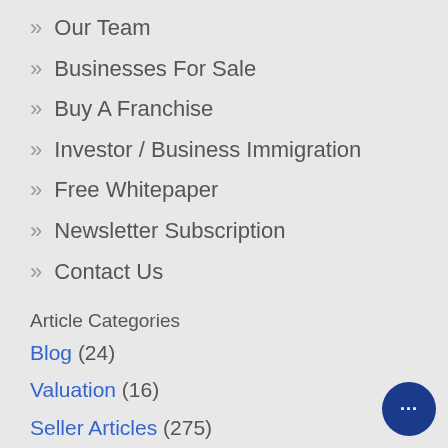» Our Team
» Businesses For Sale
» Buy A Franchise
» Investor / Business Immigration
» Free Whitepaper
» Newsletter Subscription
» Contact Us
Article Categories
Blog (24)
Valuation (16)
Seller Articles (275)
Buyer Articles (74)